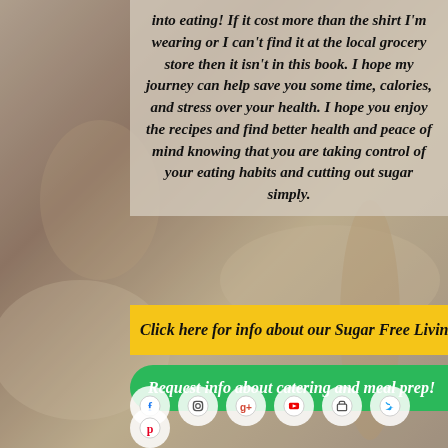[Figure (photo): Background photo of flour-dusted dough with a wooden rolling pin on a kitchen surface]
into eating!  If it cost more than the shirt I'm wearing or I can't find it at the local grocery store then it isn't in this book.  I hope my journey can help save you some time, calories, and stress over your health.  I hope you enjoy the recipes and find better health and peace of mind knowing that you are taking control of your eating habits and cutting out sugar simply.
Click here for info about our Sugar Free Living Se
Request info about catering and meal prep!